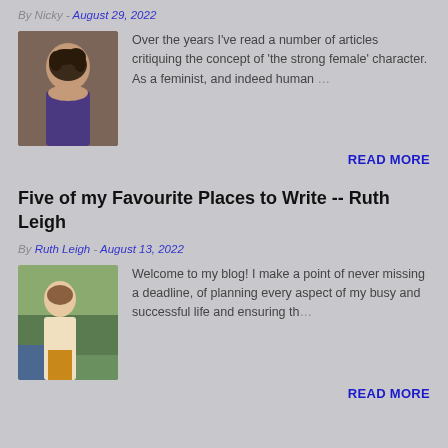By Nicky - August 29, 2022
[Figure (photo): Portrait photo of a person with curly hair]
Over the years I've read a number of articles critiquing the concept of 'the strong female' character. As a feminist, and indeed human …
READ MORE
Five of my Favourite Places to Write -- Ruth Leigh
By Ruth Leigh - August 13, 2022
[Figure (photo): Photo of a woman sitting in a chair, smiling, with plants in background]
Welcome to my blog! I make a point of never missing a deadline, of planning every aspect of my busy and successful life and ensuring th…
READ MORE